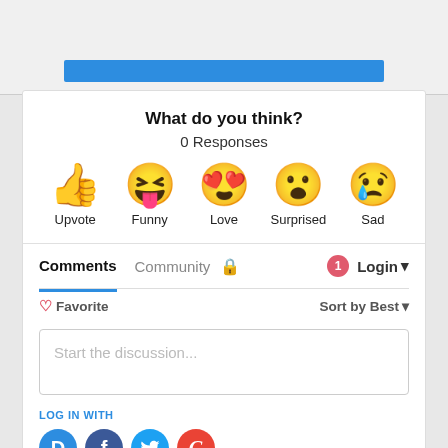[Figure (screenshot): Blue bar at top of card]
What do you think?
0 Responses
[Figure (infographic): Reaction emojis: Upvote (thumbs up), Funny (laughing), Love (heart eyes), Surprised (wow face), Sad (crying face)]
Comments  Community  [lock icon]  [1 notification]  Login
♡ Favorite   Sort by Best ▾
Start the discussion...
LOG IN WITH
[Figure (logo): Social login icons: Disqus (D), Facebook (f), Twitter bird, Google (G)]